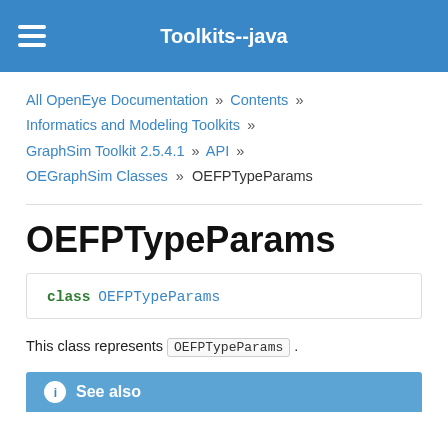Toolkits--java
All OpenEye Documentation » Contents » Informatics and Modeling Toolkits » GraphSim Toolkit 2.5.4.1 » API » OEGraphSim Classes » OEFPTypeParams
OEFPTypeParams
class OEFPTypeParams
This class represents OEFPTypeParams .
See also